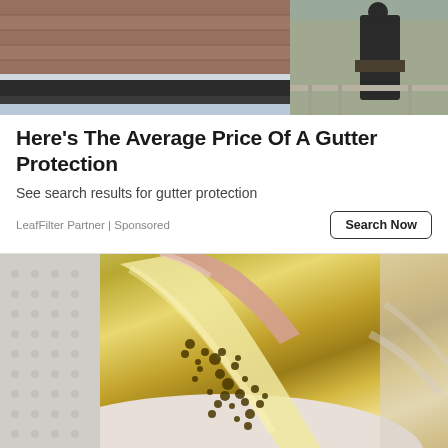[Figure (photo): Photo of a gutter installation with a worker in the background on a rooftop]
Here's The Average Price Of A Gutter Protection
See search results for gutter protection
LeafFilter Partner | Sponsored
[Figure (photo): Close-up photo of a hand holding a translucent strip with dark speckled debris/particles on it, over a textured surface]